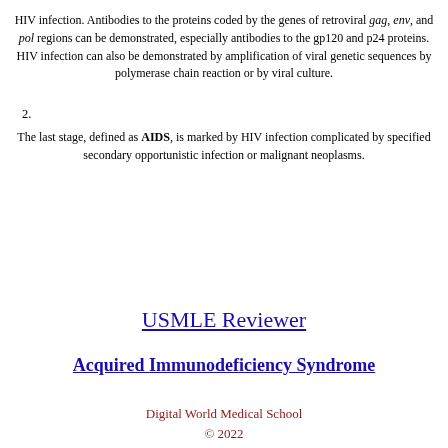HIV infection. Antibodies to the proteins coded by the genes of retroviral gag, env, and pol regions can be demonstrated, especially antibodies to the gp120 and p24 proteins. HIV infection can also be demonstrated by amplification of viral genetic sequences by polymerase chain reaction or by viral culture.
The last stage, defined as AIDS, is marked by HIV infection complicated by specified secondary opportunistic infection or malignant neoplasms.
USMLE Reviewer
Acquired Immunodeficiency Syndrome
Digital World Medical School © 2022